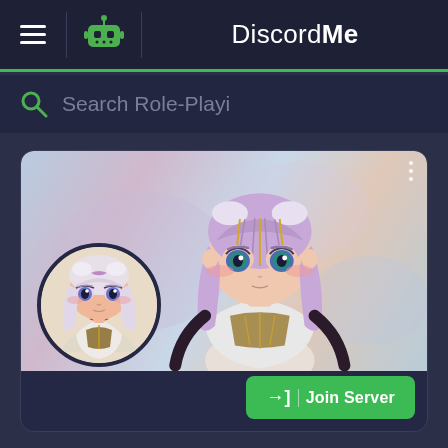DiscordMe
Search Role-Playi
[Figure (screenshot): Discord Me server listing page showing an anime character (Kanna from Miss Kobayashi's Dragon Maid) as the server banner and avatar, with a Join Server button]
Join Server